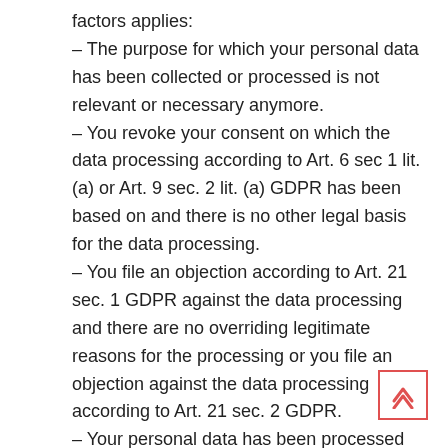factors applies:
– The purpose for which your personal data has been collected or processed is not relevant or necessary anymore.
– You revoke your consent on which the data processing according to Art. 6 sec 1 lit. (a) or Art. 9 sec. 2 lit. (a) GDPR has been based on and there is no other legal basis for the data processing.
– You file an objection according to Art. 21 sec. 1 GDPR against the data processing and there are no overriding legitimate reasons for the processing or you file an objection against the data processing according to Art. 21 sec. 2 GDPR.
– Your personal data has been processed unlawfully.
– The deletion of your personal data is necessary for the fulfilment of a legal obligation according to EU law or the law of a member state also governing the responsible person.